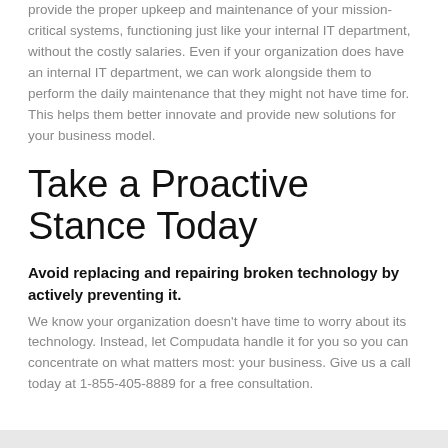provide the proper upkeep and maintenance of your mission-critical systems, functioning just like your internal IT department, without the costly salaries. Even if your organization does have an internal IT department, we can work alongside them to perform the daily maintenance that they might not have time for. This helps them better innovate and provide new solutions for your business model.
Take a Proactive Stance Today
Avoid replacing and repairing broken technology by actively preventing it.
We know your organization doesn't have time to worry about its technology. Instead, let Compudata handle it for you so you can concentrate on what matters most: your business. Give us a call today at 1-855-405-8889 for a free consultation.